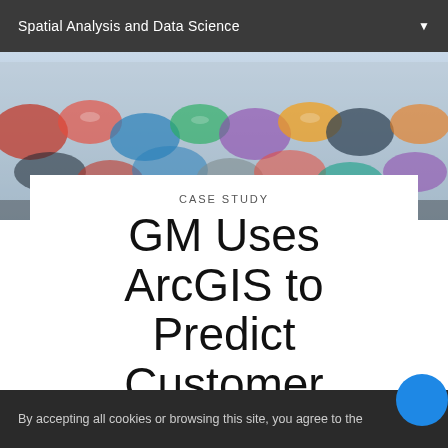Spatial Analysis and Data Science
[Figure (photo): Aerial or lot view of colorful cars parked in rows, serving as hero banner image.]
CASE STUDY
GM Uses ArcGIS to Predict Customer Demand
From electric cars to heavy-duty full-size trucks, General
By accepting all cookies or browsing this site, you agree to the